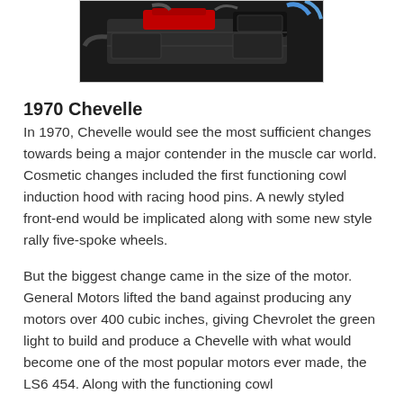[Figure (photo): Partial view of a car engine bay, dark-colored engine components visible from above, showing intake manifold and other components.]
1970 Chevelle
In 1970, Chevelle would see the most sufficient changes towards being a major contender in the muscle car world. Cosmetic changes included the first functioning cowl induction hood with racing hood pins. A newly styled front-end would be implicated along with some new style rally five-spoke wheels.
But the biggest change came in the size of the motor. General Motors lifted the band against producing any motors over 400 cubic inches, giving Chevrolet the green light to build and produce a Chevelle with what would become one of the most popular motors ever made, the LS6 454. Along with the functioning cowl